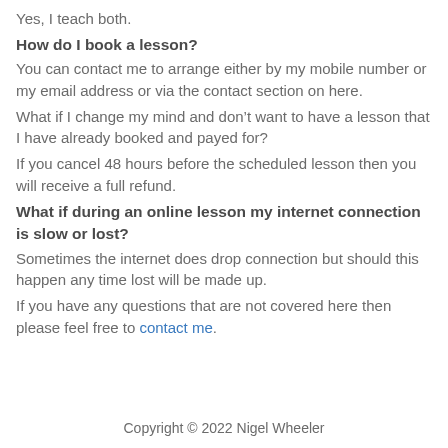Yes, I teach both.
How do I book a lesson?
You can contact me to arrange either by my mobile number or my email address or via the contact section on here.
What if I change my mind and don’t want to have a lesson that I have already booked and payed for?
If you cancel 48 hours before the scheduled lesson then you will receive a full refund.
What if during an online lesson my internet connection is slow or lost?
Sometimes the internet does drop connection but should this happen any time lost will be made up.
If you have any questions that are not covered here then please feel free to contact me.
Copyright © 2022 Nigel Wheeler